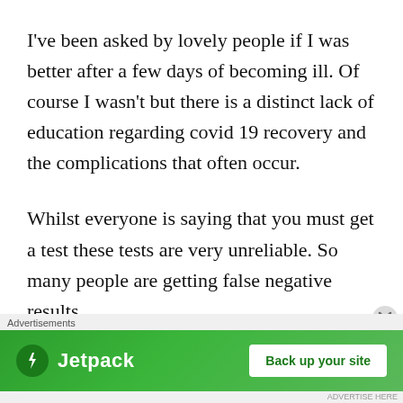I've been asked by lovely people if I was better after a few days of becoming ill. Of course I wasn't but there is a distinct lack of education regarding covid 19 recovery and the complications that often occur.
Whilst everyone is saying that you must get a test these tests are very unreliable. So many people are getting false negative results.
Please don't rely on these tests. If you have symptoms then self isolate yourself and
[Figure (other): Jetpack advertisement banner with green background. Shows Jetpack logo (lightning bolt icon) and text 'Jetpack' with a white button reading 'Back up your site'. Preceded by an 'Advertisements' label and followed by small attribution text.]